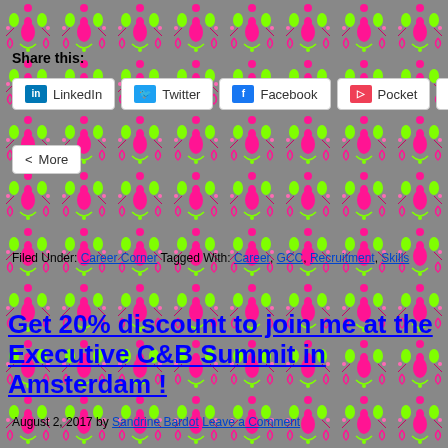Share this:
LinkedIn  Twitter  Facebook  Pocket  Email  More
Filed Under: Career Corner Tagged With: Career, GCC, Recruitment, Skills
Get 20% discount to join me at the Executive C&B Summit in Amsterdam !
August 2, 2017 by Sandrine Bardot Leave a Comment